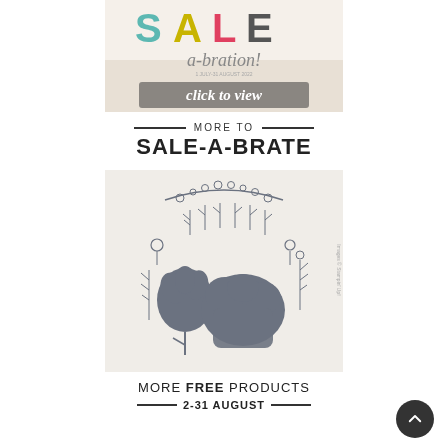[Figure (photo): Sale-a-bration banner with colorful SALE text, 'a-bration!' script, 'click to view' button, and crafting product imagery in background]
MORE TO SALE-A-BRATE
[Figure (photo): Stampin' Up! stamp set product image showing floral/botanical die-cut shapes and stamps in grey on cream background]
MORE FREE PRODUCTS 2-31 AUGUST